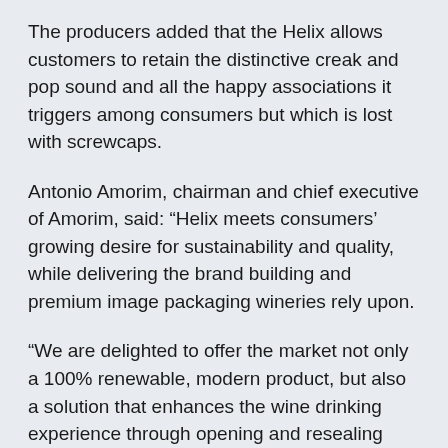The producers added that the Helix allows customers to retain the distinctive creak and pop sound and all the happy associations it triggers among consumers but which is lost with screwcaps.
Antonio Amorim, chairman and chief executive of Amorim, said: “Helix meets consumers’ growing desire for sustainability and quality, while delivering the brand building and premium image packaging wineries rely upon.
“We are delighted to offer the market not only a 100% renewable, modern product, but also a solution that enhances the wine drinking experience through opening and resealing convenience.”
Owens-Illinois European president Erik Bouts added: “The future of innovation is through collaboration.
“Helix is a proven example of what can be achieved for